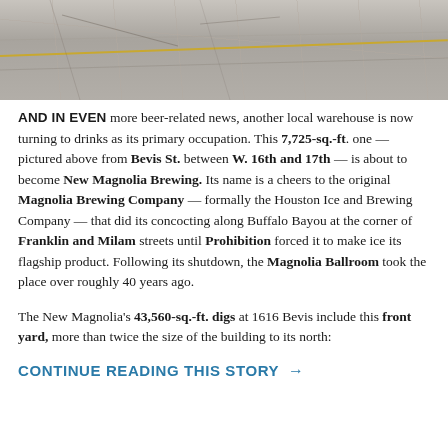[Figure (photo): Aerial or ground-level view of a concrete lot/warehouse yard with yellow lines and concrete slabs visible]
AND IN EVEN more beer-related news, another local warehouse is now turning to drinks as its primary occupation. This 7,725-sq.-ft. one — pictured above from Bevis St. between W. 16th and 17th — is about to become New Magnolia Brewing. Its name is a cheers to the original Magnolia Brewing Company — formally the Houston Ice and Brewing Company — that did its concocting along Buffalo Bayou at the corner of Franklin and Milam streets until Prohibition forced it to make ice its flagship product. Following its shutdown, the Magnolia Ballroom took the place over roughly 40 years ago.
The New Magnolia's 43,560-sq.-ft. digs at 1616 Bevis include this front yard, more than twice the size of the building to its north:
CONTINUE READING THIS STORY →